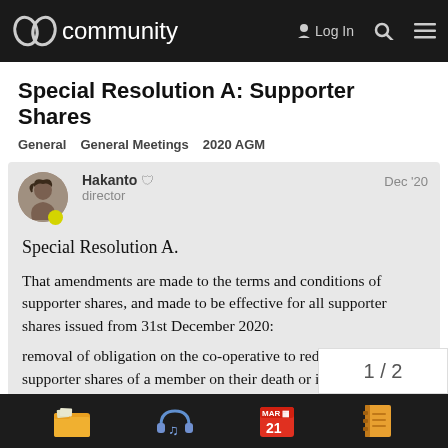community  Log In
Special Resolution A: Supporter Shares
General   General Meetings   2020 AGM
Hakanto  director  Dec '20
Special Resolution A.
That amendments are made to the terms and conditions of supporter shares, and made to be effective for all supporter shares issued from 31st December 2020:
removal of obligation on the co-operative to redeem the supporter shares of a member on their death or incapacity;
minor clarifications of text and language;
inclusion of worked example (illustrative only
1 / 2